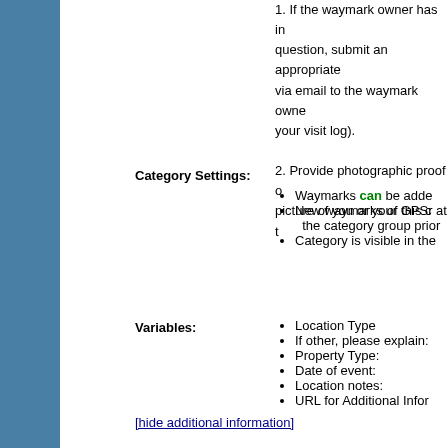1. If the waymark owner has in question, submit an appropriate via email to the waymark owe your visit log). 2. Provide photographic proof o picture of you or your GPSr at t
Category Settings:
Waymarks can be adde
New waymarks of this c the category group prio
Category is visible in the
Variables:
Location Type
If other, please explain:
Property Type:
Date of event:
Location notes:
URL for Additional Infor
[hide additional information]